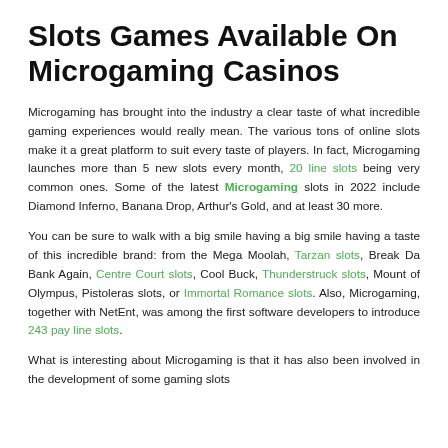Slots Games Available On Microgaming Casinos
Microgaming has brought into the industry a clear taste of what incredible gaming experiences would really mean. The various tons of online slots make it a great platform to suit every taste of players. In fact, Microgaming launches more than 5 new slots every month, 20 line slots being very common ones. Some of the latest Microgaming slots in 2022 include Diamond Inferno, Banana Drop, Arthur's Gold, and at least 30 more.
You can be sure to walk with a big smile having a taste of this incredible brand: from the Mega Moolah, Tarzan slots, Break Da Bank Again, Centre Court slots, Cool Buck, Thunderstruck slots, Mount of Olympus, Pistoleras slots, or Immortal Romance slots. Also, Microgaming, together with NetEnt, was among the first software developers to introduce 243 pay line slots.
What is interesting about Microgaming is that it has also been involved in the development of some gaming slots...